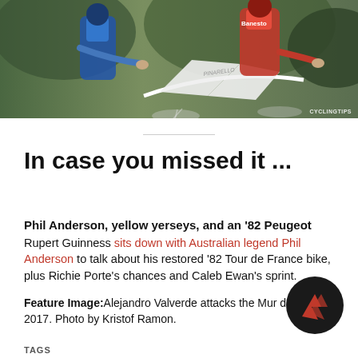[Figure (photo): Two cyclists racing on road bikes, one in a blue Festina jersey and one in a red Banesto jersey, riding Pinarello bicycles]
In case you missed it ...
Phil Anderson, yellow yerseys, and an '82 Peugeot
Rupert Guinness sits down with Australian legend Phil Anderson to talk about his restored '82 Tour de France bike, plus Richie Porte's chances and Caleb Ewan's sprint.
Feature Image: Alejandro Valverde attacks the Mur de Huy in 2017. Photo by Kristof Ramon.
TAGS
#DAILY NEWS DIGEST
#THE PUNCH